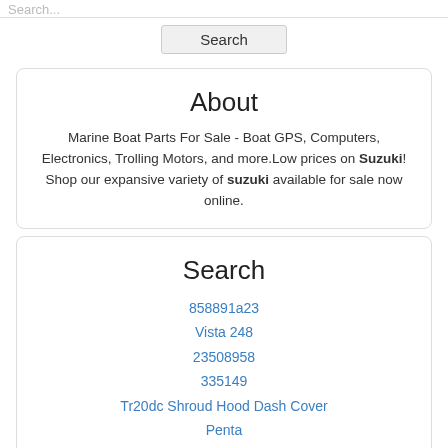Search...
Search
About
Marine Boat Parts For Sale - Boat GPS, Computers, Electronics, Trolling Motors, and more.Low prices on Suzuki! Shop our expansive variety of suzuki available for sale now online.
Search
858891a23
Vista 248
23508958
335149
Tr20dc Shroud Hood Dash Cover
Penta